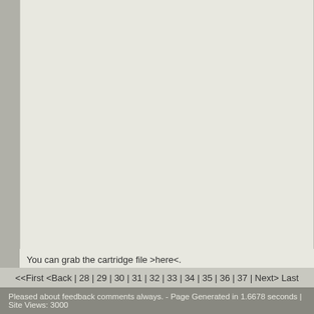You can grab the cartridge file >here<.
add comment ( 313 views )   |   permalink   |   related link   |   ( 3 / 230 )
<<First <Back | 28 | 29 | 30 | 31 | 32 | 33 | 34 | 35 | 36 | 37 | Next> Last
Pleased about feedback comments always. - Page Generated in 1.6678 seconds | Site Views: 3000